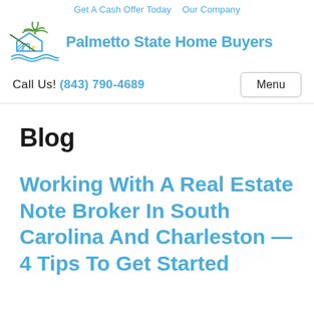Get A Cash Offer Today   Our Company
[Figure (logo): Palmetto State Home Buyers logo with house and palmetto tree icon and blue text]
Call Us! (843) 790-4689
Blog
Working With A Real Estate Note Broker In South Carolina And Charleston — 4 Tips To Get Started